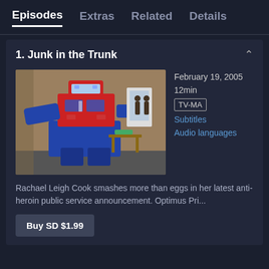Episodes  Extras  Related  Details
1. Junk in the Trunk
[Figure (photo): A photo of an Optimus Prime toy robot figure posed in a room setting with a cardboard background, blue and red robot body.]
February 19, 2005
12min
TV-MA
Subtitles
Audio languages
Rachael Leigh Cook smashes more than eggs in her latest anti-heroin public service announcement. Optimus Pri...
Buy SD $1.99